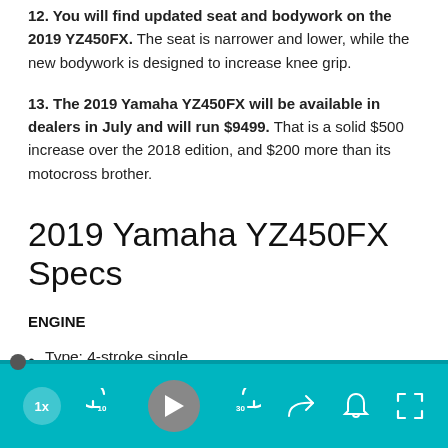12. You will find updated seat and bodywork on the 2019 YZ450FX. The seat is narrower and lower, while the new bodywork is designed to increase knee grip.
13. The 2019 Yamaha YZ450FX will be available in dealers in July and will run $9499. That is a solid $500 increase over the 2018 edition, and $200 more than its motocross brother.
2019 Yamaha YZ450FX Specs
ENGINE
Type: 4-stroke single
[Figure (screenshot): Media player control bar with teal background, progress bar, speed button (1x), skip-back-10, play, skip-forward-30, share, bell, and fullscreen buttons]